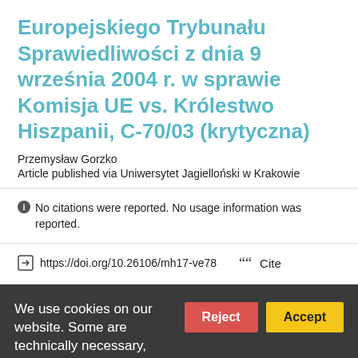Europejskiego Trybunału Sprawiedliwości z dnia 9 września 2004 r. w sprawie Komisja UE vs. Królestwo Hiszpanii, C-70/03 (krytyczna)
Przemysław Gorzko
Article published via Uniwersytet Jagielloński w Krakowie
No citations were reported. No usage information was reported.
https://doi.org/10.26106/mh17-ve78  Cite
We use cookies on our website. Some are technically necessary, others help us improve...